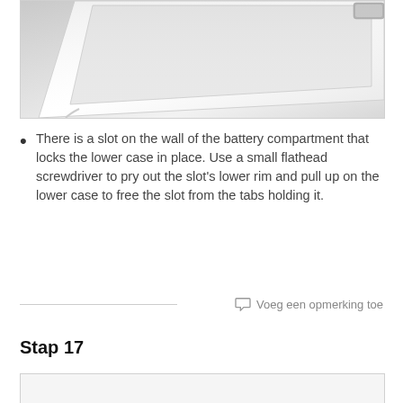[Figure (photo): Close-up photo of a white electronic device showing the battery compartment area and lower case with slot detail]
There is a slot on the wall of the battery compartment that locks the lower case in place. Use a small flathead screwdriver to pry out the slot's lower rim and pull up on the lower case to free the slot from the tabs holding it.
Voeg een opmerking toe
Stap 17
[Figure (photo): Partial view of next step photo (bottom of page, cropped)]